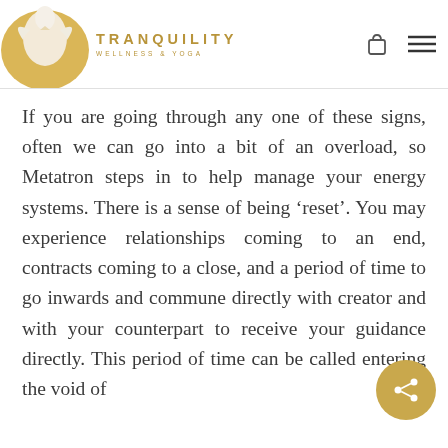TRANQUILITY WELLNESS & YOGA
If you are going through any one of these signs, often we can go into a bit of an overload, so Metatron steps in to help manage your energy systems. There is a sense of being ‘reset’. You may experience relationships coming to an end, contracts coming to a close, and a period of time to go inwards and commune directly with creator and with your counterpart to receive your guidance directly. This period of time can be called entering the void of